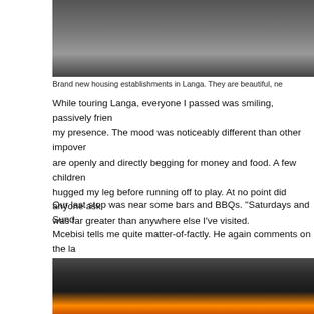[Figure (photo): Top portion of a photo showing new housing establishments in Langa, with concrete barriers or wall visible against a dark background.]
Brand new housing establishments in Langa. They are beautiful, ne
While touring Langa, everyone I passed was smiling, passively frien my presence. The mood was noticeably different than other impover are openly and directly begging for money and food. A few children hugged my leg before running off to play. At no point did anyone ask was far greater than anywhere else I've visited.
Our last stop was near some bars and BBQs. "Saturdays and Sund Mcebisi tells me quite matter-of-factly. He again comments on the la and obsession of status among the majority of people living in the to passes, he scoffs at the skewed idol worship. He mentions that havi girl's attention (some things are the same everywhere), and it's com and steal expensive car parts to attract more women.
[Figure (photo): Bottom photo showing dark industrial or salvage scene with orange/yellow fire or glowing light visible at the bottom, dark metal or debris in the foreground.]